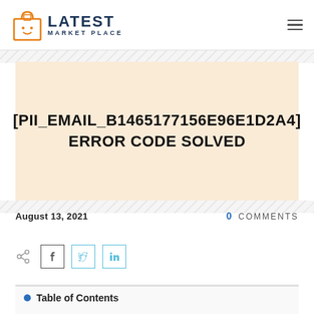LATEST MARKET PLACE
[PII_EMAIL_B1465177156E96E1D2A4] ERROR CODE SOLVED
August 13, 2021
0 COMMENTS
[Figure (other): Social share icons: share, Facebook, Twitter, LinkedIn]
Table of Contents